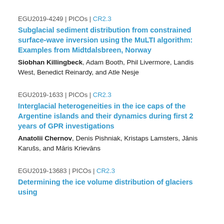EGU2019-4249 | PICOs | CR2.3
Subglacial sediment distribution from constrained surface-wave inversion using the MuLTI algorithm: Examples from Midtdalsbreen, Norway
Siobhan Killingbeck, Adam Booth, Phil Livermore, Landis West, Benedict Reinardy, and Atle Nesje
EGU2019-1633 | PICOs | CR2.3
Interglacial heterogeneities in the ice caps of the Argentine islands and their dynamics during first 2 years of GPR investigations
Anatolii Chernov, Denis Pishniak, Kristaps Lamsters, Jānis Karušs, and Māris Krievāns
EGU2019-13683 | PICOs | CR2.3
Determining the ice volume distribution of glaciers using